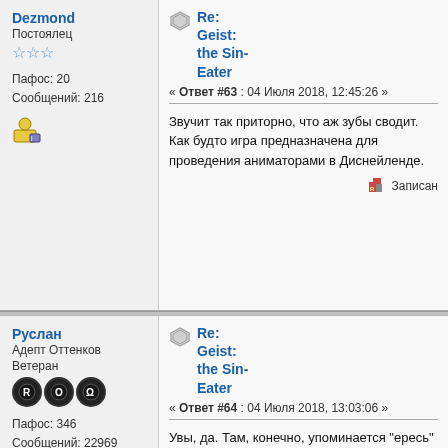Dezmond
Постоялец
Пафос: 20
Сообщений: 216
Re: Geist: the Sin-Eater
« Ответ #63 : 04 Июля 2018, 12:45:26 »
Звучит так приторно, что аж зубы сводит. Как будто игра предназначена для проведения аниматорами в Диснейленде.
Записан
Руслан
Адепт Оттенков
Ветеран
Пафос: 346
Сообщений: 22969
Re: Geist: the Sin-Eater
« Ответ #64 : 04 Июля 2018, 13:03:06 »
Увы, да. Там, конечно, упоминается "ересь" в каждой философии Гейстов, но само название отсылает